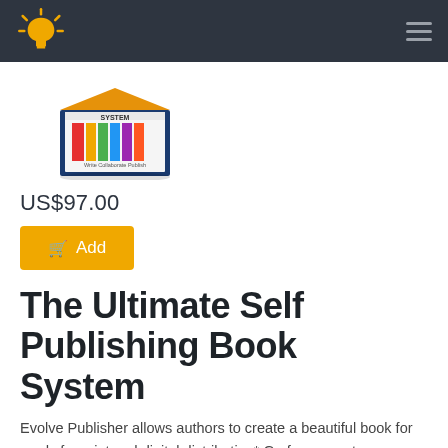[Figure (photo): Product box image for The Ultimate Self Publishing Book System — a colorful box with 'SYSTEM' text and 'Write Collaborate Publish']
US$97.00
Add
The Ultimate Self Publishing Book System
Evolve Publisher allows authors to create a beautiful book for ready for print and digital distribution* Go from zero to published in minutes to produce a great-looking book ready for iTunes, Amazon, Google Play or any other major platform.